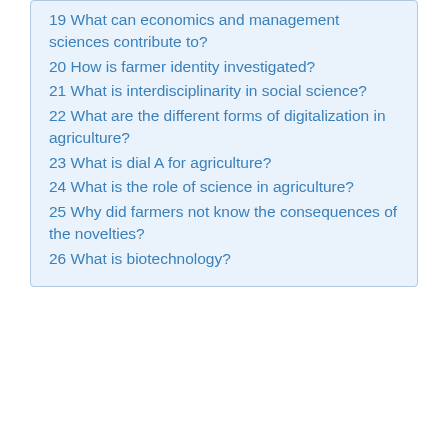19 What can economics and management sciences contribute to?
20 How is farmer identity investigated?
21 What is interdisciplinarity in social science?
22 What are the different forms of digitalization in agriculture?
23 What is dial A for agriculture?
24 What is the role of science in agriculture?
25 Why did farmers not know the consequences of the novelties?
26 What is biotechnology?